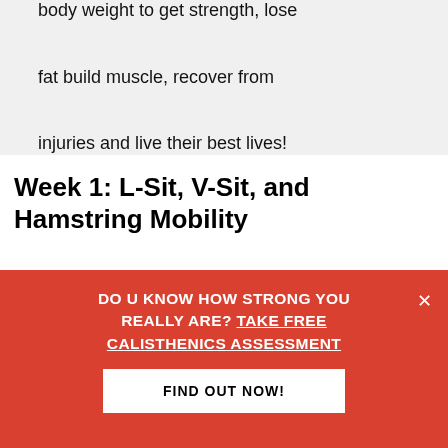body weight to get strength, lose fat build muscle, recover from injuries and live their best lives!
Week 1: L-Sit, V-Sit, and Hamstring Mobility
[Figure (photo): Person performing calisthenics exercise against a black background, shirtless, shown in profile]
DO U KNOW HOW STRONG YOU REALLY ARE? TAKE FREE CALISTHENICS ASSESSMENT
FIND OUT NOW!